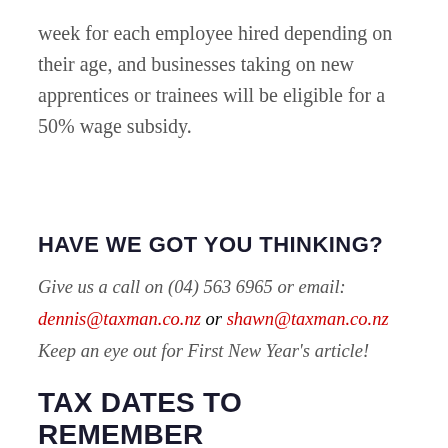week for each employee hired depending on their age, and businesses taking on new apprentices or trainees will be eligible for a 50% wage subsidy.
HAVE WE GOT YOU THINKING?
Give us a call on (04) 563 6965 or email:
dennis@taxman.co.nz or shawn@taxman.co.nz
Keep an eye out for First New Year’s article!
TAX DATES TO REMEMBER